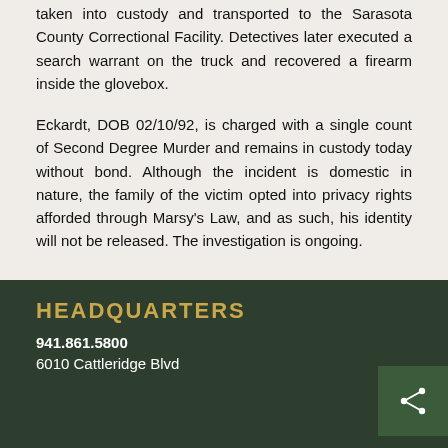taken into custody and transported to the Sarasota County Correctional Facility. Detectives later executed a search warrant on the truck and recovered a firearm inside the glovebox.
Eckardt, DOB 02/10/92, is charged with a single count of Second Degree Murder and remains in custody today without bond. Although the incident is domestic in nature, the family of the victim opted into privacy rights afforded through Marsy's Law, and as such, his identity will not be released. The investigation is ongoing.
HEADQUARTERS
941.861.5800
6010 Cattleridge Blvd